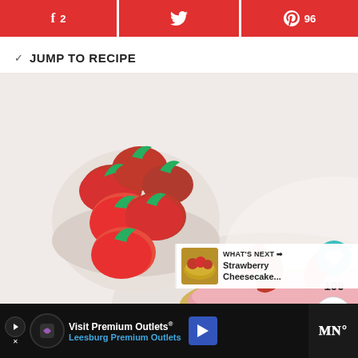[Figure (screenshot): Social share buttons: Facebook with count 2, Twitter, Pinterest with count 96, all red background]
JUMP TO RECIPE
[Figure (photo): Overhead photo of a strawberry no-bake cheesecake with graham cracker crust, fresh strawberries in a white bowl on the side]
100
WHAT'S NEXT → Strawberry Cheesecake...
Visit Premium Outlets® Leesburg Premium Outlets